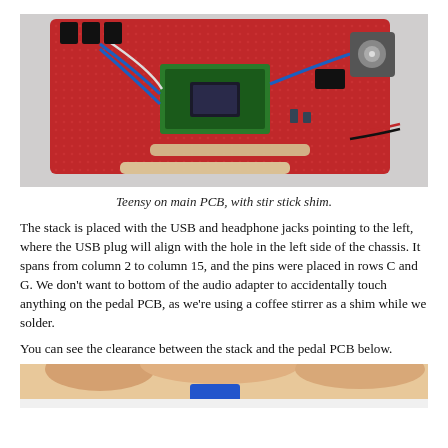[Figure (photo): Photo of a red perforated PCB (pedal PCB) with a green Teensy microcontroller board mounted on it, blue wires, black connectors, a BNC-style jack, and two beige coffee stirrer sticks used as shims. The assembly is photographed on a light grey background.]
Teensy on main PCB, with stir stick shim.
The stack is placed with the USB and headphone jacks pointing to the left, where the USB plug will align with the hole in the left side of the chassis. It spans from column 2 to column 15, and the pins were placed in rows C and G. We don't want to bottom of the audio adapter to accidentally touch anything on the pedal PCB, as we're using a coffee stirrer as a shim while we solder.
You can see the clearance between the stack and the pedal PCB below.
[Figure (photo): Partial photo showing a close-up of fingers holding or displaying the PCB stack, with a blue component visible, on a light background. Only the top portion of the image is visible.]